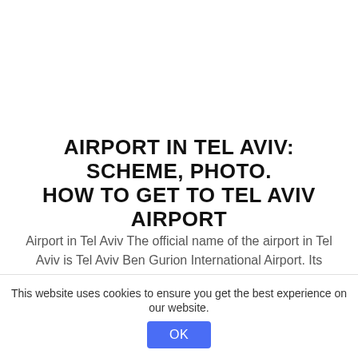AIRPORT IN TEL AVIV: SCHEME, PHOTO. HOW TO GET TO TEL AVIV AIRPORT
Airport in Tel Aviv The official name of the airport in Tel Aviv is Tel Aviv Ben Gurion International Airport. Its international name is Ben Gurion International Airport, the three-letter ...
READ MORE
This website uses cookies to ensure you get the best experience on our website.